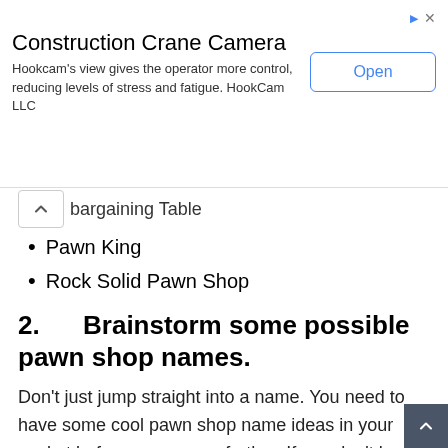[Figure (other): Advertisement banner for Construction Crane Camera by HookCam LLC with an Open button]
bargaining Table
Pawn King
Rock Solid Pawn Shop
2.      Brainstorm some possible pawn shop names.
Don't just jump straight into a name. You need to have some cool pawn shop name ideas in your pocket before you go any further. If you don't have any ideas, then you can do a Google search to find some examples that you like. Once you have some initial ideas then you can make notes on them, and you can start coming up with some more ideas.